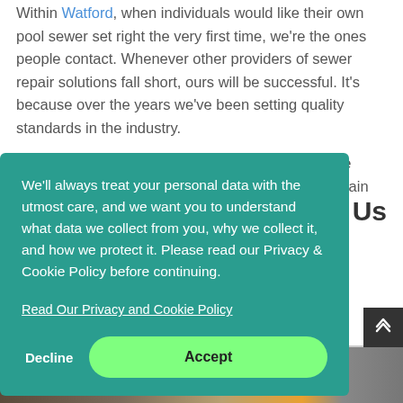Within Watford, when individuals would like their own pool sewer set right the very first time, we're the ones people contact. Whenever other providers of sewer repair solutions fall short, ours will be successful. It's because over the years we've been setting quality standards in the industry.
All of us consider the placement of trust from home owners a serious thing. Seeing you happy is our main target. All of us
Us
We'll always treat your personal data with the utmost care, and we want you to understand what data we collect from you, why we collect it, and how we protect it. Please read our Privacy & Cookie Policy before continuing.
Read Our Privacy and Cookie Policy
Decline
Accept
[Figure (photo): Bottom strip showing construction/sewer repair site imagery in dark and orange tones]